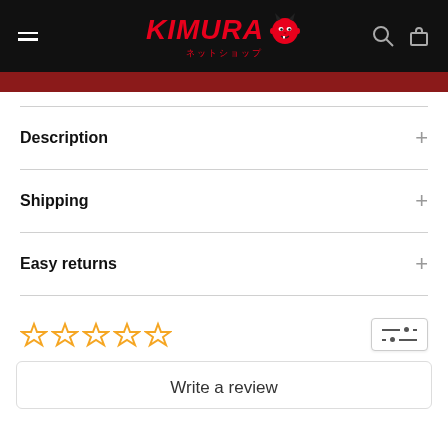KIMURA ネットショップ
Description
Shipping
Easy returns
★★★★★ (empty stars rating)
Write a review